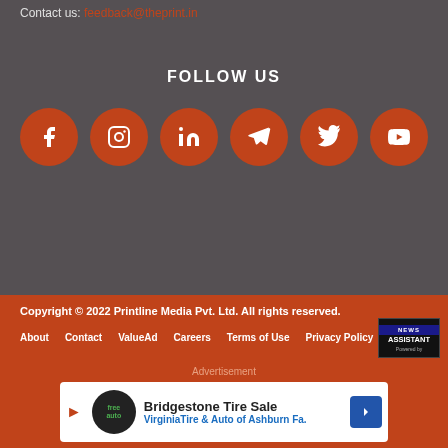Contact us: feedback@theprint.in
FOLLOW US
[Figure (illustration): Six orange circular social media icons: Facebook, Instagram, LinkedIn, Telegram, Twitter, YouTube]
Copyright © 2022 Printline Media Pvt. Ltd. All rights reserved.
About  Contact  ValueAd  Careers  Terms of Use  Privacy Policy
Advertisement
[Figure (illustration): Bridgestone Tire Sale advertisement banner — VirginiaTire & Auto of Ashburn Fa.]